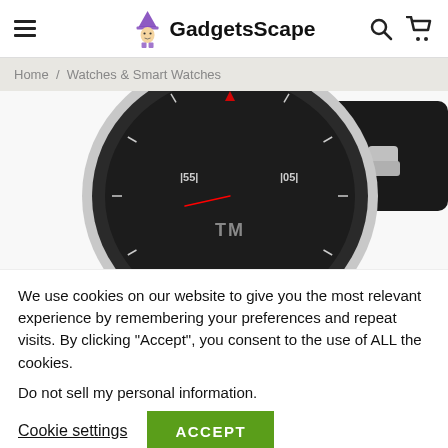GadgetsScape
Home / Watches & Smart Watches
[Figure (photo): Close-up photo of a sport watch with black rubber strap, silver case, and dark dial showing minute markers and a red second hand, displayed on a white background.]
We use cookies on our website to give you the most relevant experience by remembering your preferences and repeat visits. By clicking “Accept”, you consent to the use of ALL the cookies.
Do not sell my personal information.
Cookie settings   ACCEPT